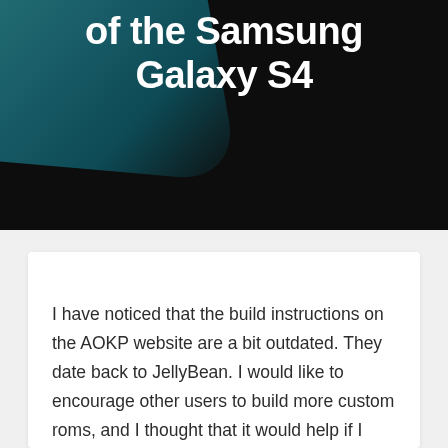of the Samsung Galaxy S4
I have noticed that the build instructions on the AOKP website are a bit outdated. They date back to JellyBean. I would like to encourage other users to build more custom roms, and I thought that it would help if I show how to build one of the roms